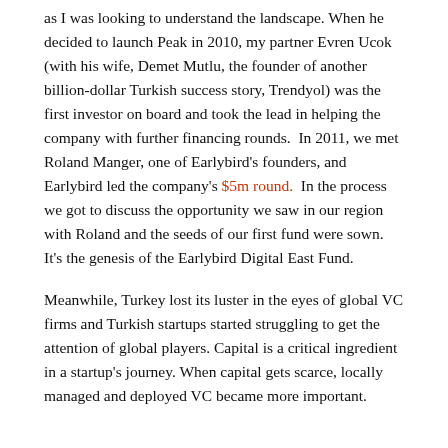as I was looking to understand the landscape. When he decided to launch Peak in 2010, my partner Evren Ucok (with his wife, Demet Mutlu, the founder of another billion-dollar Turkish success story, Trendyol) was the first investor on board and took the lead in helping the company with further financing rounds. In 2011, we met Roland Manger, one of Earlybird's founders, and Earlybird led the company's $5m round. In the process we got to discuss the opportunity we saw in our region with Roland and the seeds of our first fund were sown. It's the genesis of the Earlybird Digital East Fund.
Meanwhile, Turkey lost its luster in the eyes of global VC firms and Turkish startups started struggling to get the attention of global players. Capital is a critical ingredient in a startup's journey. When capital gets scarce, locally managed and deployed VC became more important.